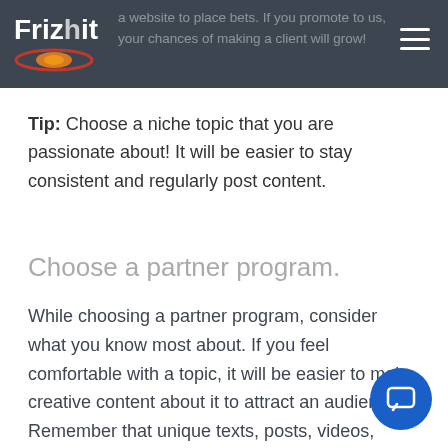Frizhit — a website to place bets. If you promote to us, your chances of making a client will grow!
Tip: Choose a niche topic that you are passionate about! It will be easier to stay consistent and regularly post content.
Choose a partner program.
While choosing a partner program, consider what you know most about. If you feel comfortable with a topic, it will be easier to make creative content about it to attract an audience. Remember that unique texts, posts, videos, graphics you make are much more likely to appeal to Internet